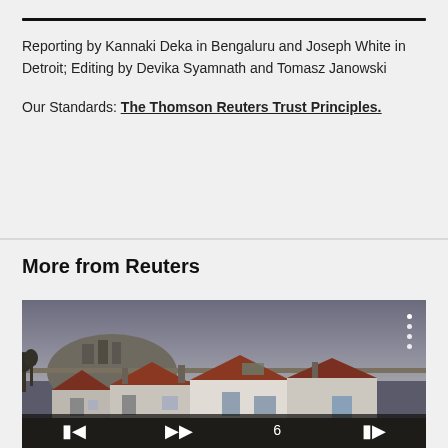Reporting by Kannaki Deka in Bengaluru and Joseph White in Detroit; Editing by Devika Syamnath and Tomasz Janowski
Our Standards: The Thomson Reuters Trust Principles.
More from Reuters
[Figure (photo): Aerial/elevated view of a suburban neighbourhood with terraced houses and red-tiled rooftops under a grey sky, with a town or castle on a hill in the background. A video player control bar is overlaid at the bottom with skip-back, play, skip-forward icons and navigation dots on the right side.]